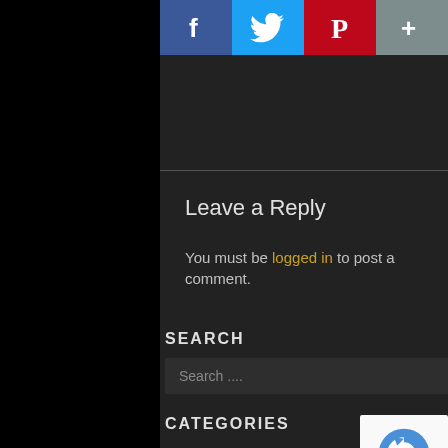[Figure (screenshot): Social sharing buttons row: Facebook (blue), Twitter (light blue), Pinterest (red), Share (gray)]
Leave a Reply
You must be logged in to post a comment.
SEARCH
Search ....
CATEGORIES
Absinthe Cocktails
Brandy Cocktails